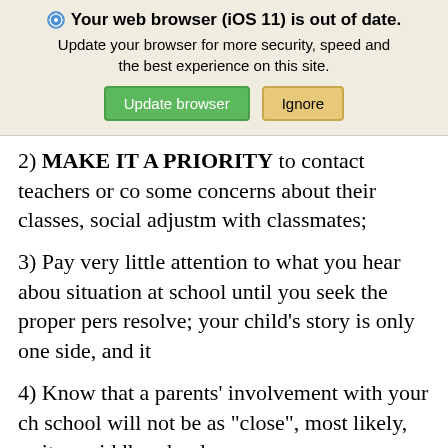[Figure (screenshot): Browser update notification banner: 'Your web browser (iOS 11) is out of date. Update your browser for more security, speed and the best experience on this site.' with 'Update browser' (green button) and 'Ignore' (tan/orange button).]
2) MAKE IT A PRIORITY to contact teachers or co some concerns about their classes, social adjustm with classmates;
3) Pay very little attention to what you hear abou situation at school until you seek the proper pers resolve; your child's story is only one side, and it
4) Know that a parents' involvement with your ch school will not be as "close", most likely, as it m middle school;